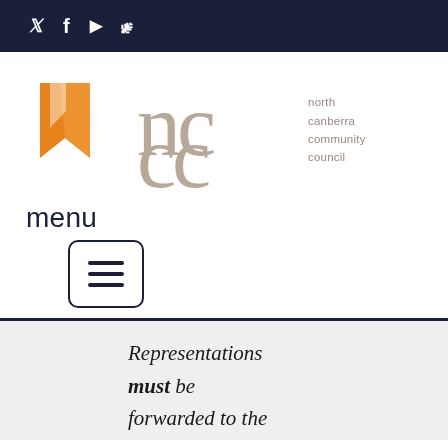Twitter Facebook YouTube RSS social icons
[Figure (logo): North Canberra Community Council logo with orange angular shape and 'nccc' stylized lettering with text 'north canberra community council']
menu
[Figure (other): Hamburger menu button with three horizontal lines inside a rounded rectangle border]
Representations must be forwarded to the ACTPLA Applications Secretariat at 16